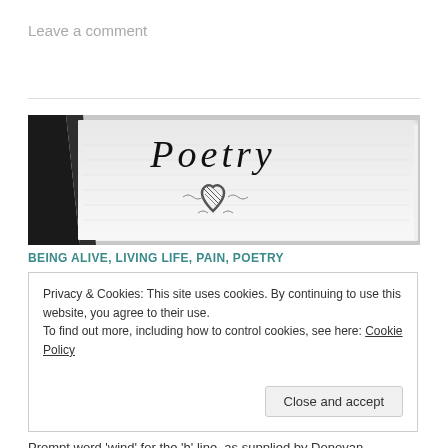Leave a comment
[Figure (photo): Black and white photo of a poetry notebook with the word 'Poetry' written in cursive at the top and a hand-drawn heart in the center.]
BEING ALIVE, LIVING LIFE, PAIN, POETRY
Privacy & Cookies: This site uses cookies. By continuing to use this website, you agree to their use.
To find out more, including how to control cookies, see here: Cookie Policy
Close and accept
Prompt word 'wind' for the 'h' line, as supplied by Donovan.